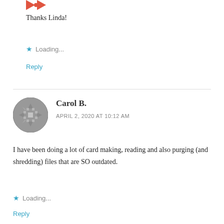[Figure (logo): Red/orange decorative cross or bowtie icon at top left]
Thanks Linda!
Loading...
Reply
[Figure (illustration): Gray circular avatar with quilt/snowflake geometric pattern]
Carol B.
APRIL 2, 2020 AT 10:12 AM
I have been doing a lot of card making, reading and also purging (and shredding) files that are SO outdated.
Loading...
Reply